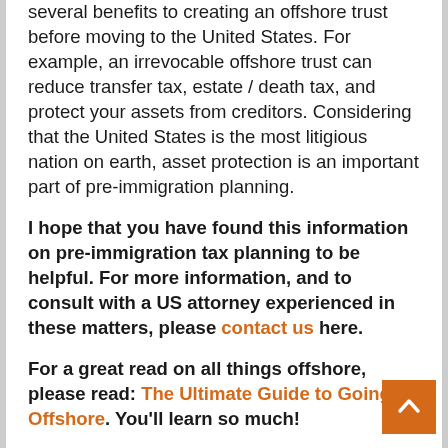several benefits to creating an offshore trust before moving to the United States. For example, an irrevocable offshore trust can reduce transfer tax, estate / death tax, and protect your assets from creditors. Considering that the United States is the most litigious nation on earth, asset protection is an important part of pre-immigration planning.
I hope that you have found this information on pre-immigration tax planning to be helpful. For more information, and to consult with a US attorney experienced in these matters, please contact us here.
For a great read on all things offshore, please read: The Ultimate Guide to Going Offshore. You'll learn so much!